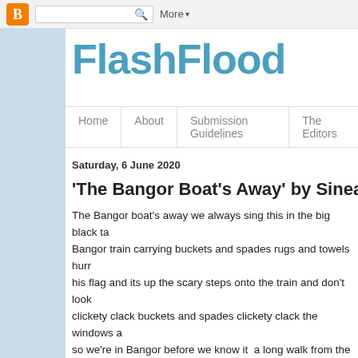Blogger | More ▾
FlashFlood
Home | About | Submission Guidelines | The Editors
Saturday, 6 June 2020
'The Bangor Boat's Away' by Sinead S
The Bangor boat's away we always sing this in the big black ta Bangor train carrying buckets and spades rugs and towels hurr his flag and its up the scary steps onto the train and don't look clickety clack buckets and spades clickety clack the windows a so we're in Bangor before we know it  a long walk from the stati but I'm too hot well stay in the shade it's going to be hotter at t fighting we'll go straight back all woes forgotten when we see t